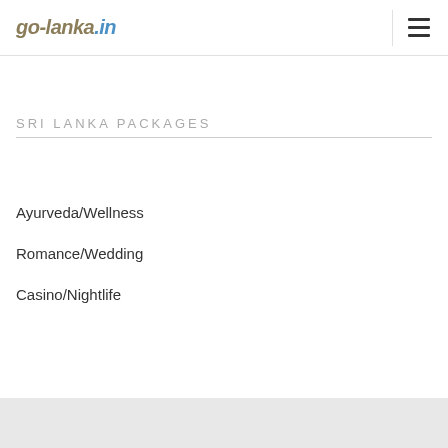go-lanka.in
SRI LANKA PACKAGES
Ayurveda/Wellness
Romance/Wedding
Casino/Nightlife